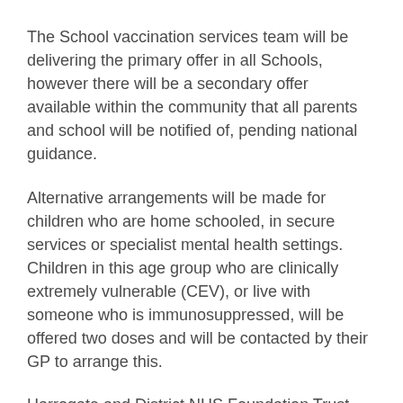The School vaccination services team will be delivering the primary offer in all Schools, however there will be a secondary offer available within the community that all parents and school will be notified of, pending national guidance.
Alternative arrangements will be made for children who are home schooled, in secure services or specialist mental health settings. Children in this age group who are clinically extremely vulnerable (CEV), or live with someone who is immunosuppressed, will be offered two doses and will be contacted by their GP to arrange this.
Harrogate and District NHS Foundation Trust who are responsible for the school-based COVID-19 vaccination programme for 12-15 year olds will be working closely with schools to ensure all eligible children are offered a vaccination.